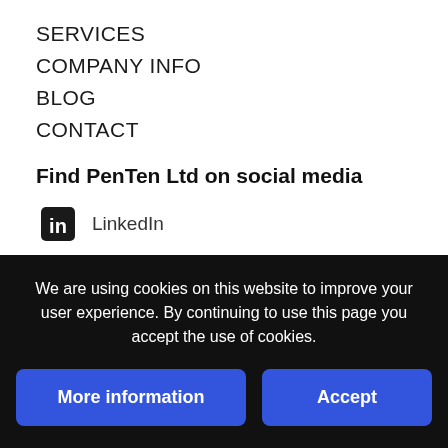SERVICES
COMPANY INFO
BLOG
CONTACT
Find PenTen Ltd on social media
LinkedIn
Twitter
We are using cookies on this website to improve your user experience. By continuing to use this page you accept the use of cookies.
More information
Accept